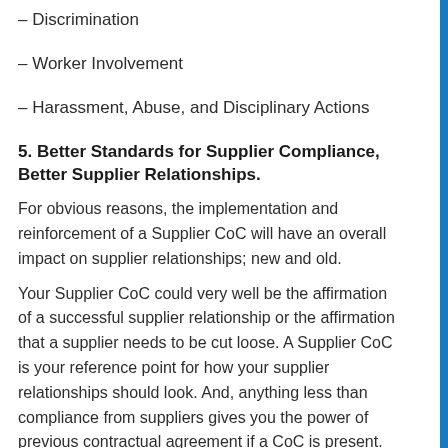– Discrimination
– Worker Involvement
– Harassment, Abuse, and Disciplinary Actions
5. Better Standards for Supplier Compliance, Better Supplier Relationships.
For obvious reasons, the implementation and reinforcement of a Supplier CoC will have an overall impact on supplier relationships; new and old.
Your Supplier CoC could very well be the affirmation of a successful supplier relationship or the affirmation that a supplier needs to be cut loose. A Supplier CoC is your reference point for how your supplier relationships should look. And, anything less than compliance from suppliers gives you the power of previous contractual agreement if a CoC is present. As much as a supplier CoC is a foundation to